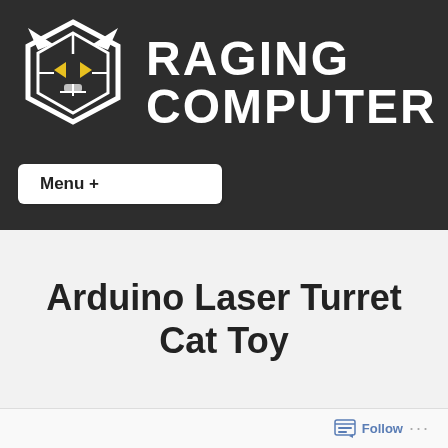[Figure (logo): Raging Computer logo: a stylized wolf/fox face in white with yellow eyes on dark background, with bold stencil-style text RAGING COMPUTER]
Menu +
Arduino Laser Turret Cat Toy
Follow ...